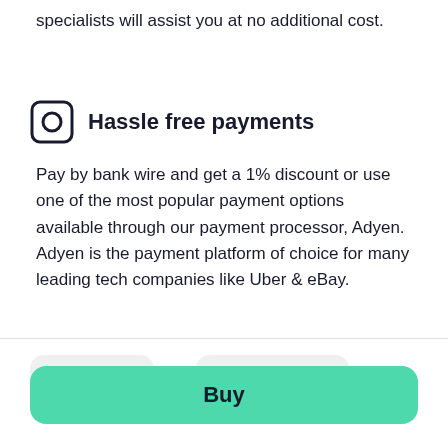specialists will assist you at no additional cost.
Hassle free payments
Pay by bank wire and get a 1% discount or use one of the most popular payment options available through our payment processor, Adyen. Adyen is the payment platform of choice for many leading tech companies like Uber & eBay.
$3,399  or  $156 /month
Buy